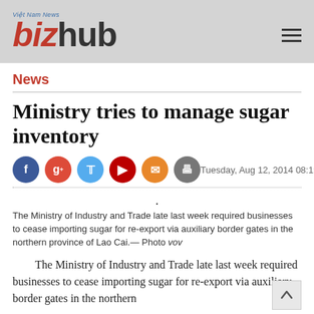Việt Nam News bizhub
News
Ministry tries to manage sugar inventory
Tuesday, Aug 12, 2014 08:19
The Ministry of Industry and Trade late last week required businesses to cease importing sugar for re-export via auxiliary border gates in the northern province of Lao Cai.— Photo vov
The Ministry of Industry and Trade late last week required businesses to cease importing sugar for re-export via auxiliary border gates in the northern